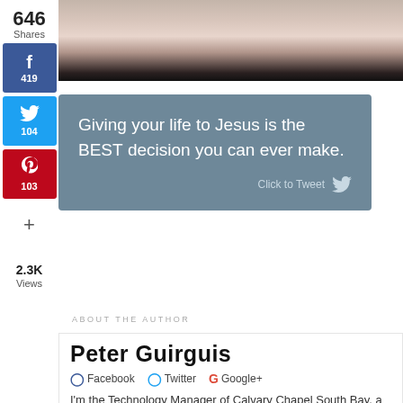[Figure (photo): Top portion of a person's head and shoulders against a dark background, partial view]
646
Shares
[Figure (infographic): Facebook share button showing 419 shares]
[Figure (infographic): Twitter share button showing 104 shares]
[Figure (infographic): Pinterest share button showing 103 shares]
+
Giving your life to Jesus is the BEST decision you can ever make.
Click to Tweet
ABOUT THE AUTHOR
2.3K
Views
Peter Guirguis
Facebook  Twitter  Google+
I'm the Technology Manager of Calvary Chapel South Bay, a church in Gardena